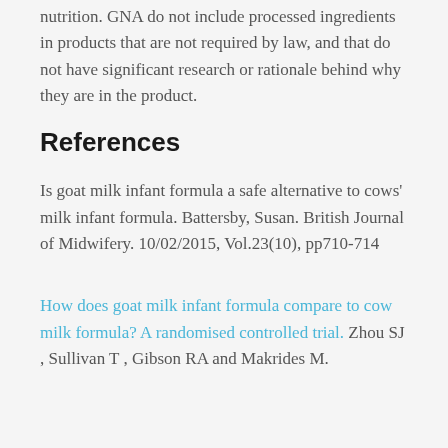nutrition. GNA do not include processed ingredients in products that are not required by law, and that do not have significant research or rationale behind why they are in the product.
References
Is goat milk infant formula a safe alternative to cows' milk infant formula. Battersby, Susan. British Journal of Midwifery. 10/02/2015, Vol.23(10), pp710-714
How does goat milk infant formula compare to cow milk formula? A randomised controlled trial. Zhou SJ , Sullivan T , Gibson RA and Makrides M.